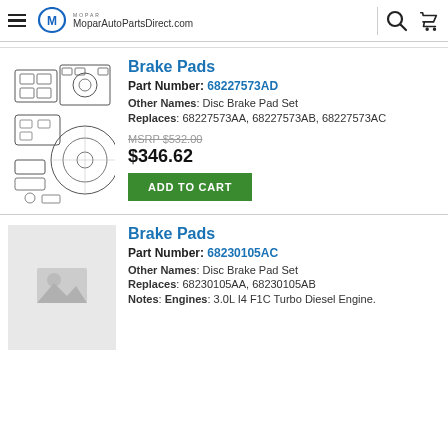MoparAutoPartsDirect.com
[Figure (illustration): Technical line drawing of brake pad components and disc brake assembly]
Brake Pads
Part Number: 68227573AD
Other Names: Disc Brake Pad Set
Replaces: 68227573AA, 68227573AB, 68227573AC
MSRP $532.00
$346.62
ADD TO CART
[Figure (photo): Placeholder image for brake pads product]
Brake Pads
Part Number: 68230105AC
Other Names: Disc Brake Pad Set
Replaces: 68230105AA, 68230105AB
Notes: Engines: 3.0L I4 F1C Turbo Diesel Engine.